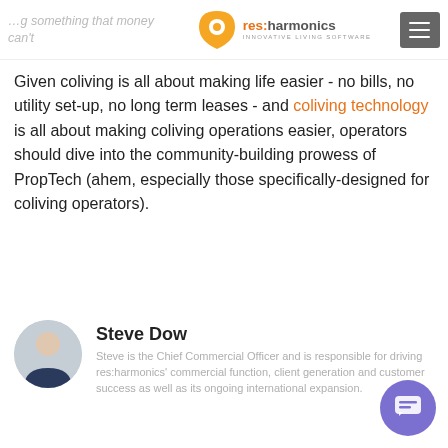res:harmonics INNOVATIVE LIVING SOFTWARE
Given coliving is all about making life easier - no bills, no utility set-up, no long term leases - and coliving technology is all about making coliving operations easier, operators should dive into the community-building prowess of PropTech (ahem, especially those specifically-designed for coliving operators).
Steve Dow
Steve is the Chief Commercial Officer and is responsible for driving res:harmonics' commercial function, client generation and customer success as well as its ongoing international expansion.